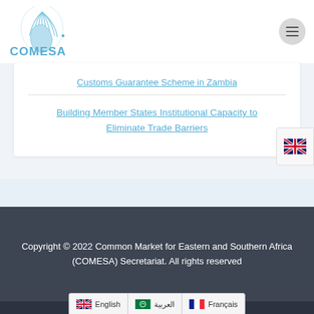[Figure (logo): COMESA logo with stylized African map graphic in blue]
Customs Guarantee Scheme in Zambia
Building Member States Institutional Capacity to Eliminate Trade Barriers
Copyright © 2022 Common Market for Eastern and Southern Africa (COMESA) Secretariat. All rights reserved
English | العربية | Français